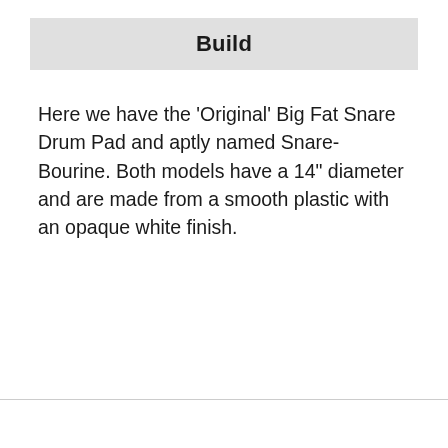Build
Here we have the 'Original' Big Fat Snare Drum Pad and aptly named Snare-Bourine. Both models have a 14" diameter and are made from a smooth plastic with an opaque white finish.